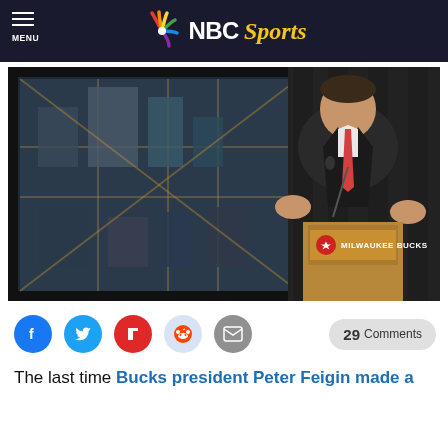NBC Sports
[Figure (photo): Man in dark suit speaking at a Milwaukee Bucks podium, with an architectural rendering of a sports complex displayed on a screen behind him.]
29 Comments
The last time Bucks president Peter Feigin made a